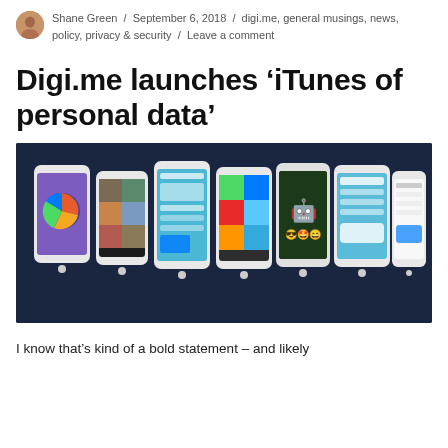Shane Green / September 6, 2018 / digi.me, general musings, news, policy, privacy & security / Leave a comment
Digi.me launches ‘iTunes of personal data’
[Figure (photo): A row of multiple smartphones displayed against a dark navy blue background, showing various app screens including colorful dashboards, photo galleries, health data, and social media interfaces. The phones appear to showcase the Digi.me app across different screens.]
I know that’s kind of a bold statement – and likely